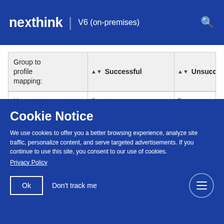nexthink | V6 (on-premises)
| Group to profile mapping: | Successful | Unsuccessful |
| --- | --- | --- |
| User | Create user | Deny |
Cookie Notice
We use cookies to offer you a better browsing experience, analyze site traffic, personalize content, and serve targeted advertisements. If you continue to use this site, you consent to our use of cookies.
Privacy Policy
Ok   Don't track me